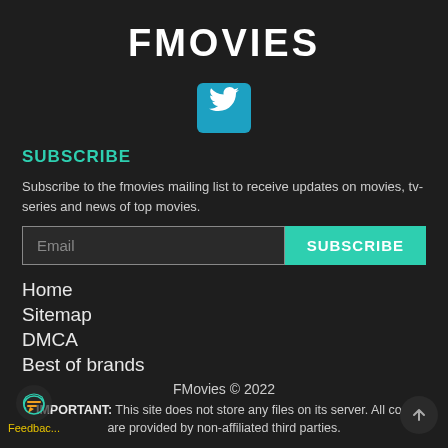FMOVIES
[Figure (logo): Twitter bird icon in teal/cyan square button]
SUBSCRIBE
Subscribe to the fmovies mailing list to receive updates on movies, tv-series and news of top movies.
Email [input field] SUBSCRIBE [button]
Home
Sitemap
DMCA
Best of brands
FMovies © 2022
IMPORTANT: This site does not store any files on its server. All contents are provided by non-affiliated third parties.
Feedbac...